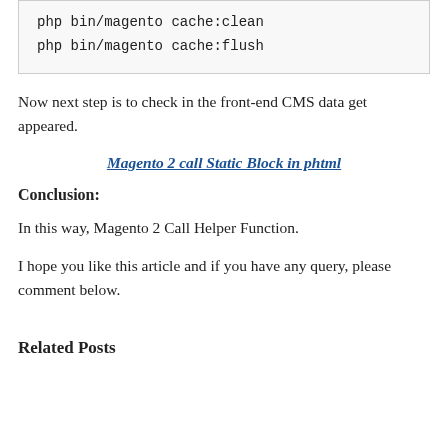php bin/magento cache:clean
php bin/magento cache:flush
Now next step is to check in the front-end CMS data get appeared.
Magento 2 call Static Block in phtml
Conclusion:
In this way, Magento 2 Call Helper Function.
I hope you like this article and if you have any query, please comment below.
Related Posts